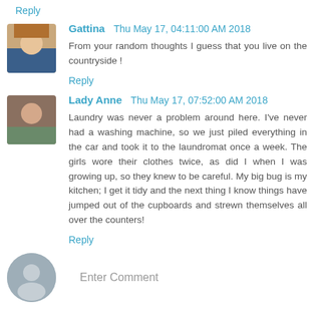Reply
Gattina  Thu May 17, 04:11:00 AM 2018
From your random thoughts I guess that you live on the countryside !
Reply
Lady Anne  Thu May 17, 07:52:00 AM 2018
Laundry was never a problem around here. I've never had a washing machine, so we just piled everything in the car and took it to the laundromat once a week. The girls wore their clothes twice, as did I when I was growing up, so they knew to be careful. My big bug is my kitchen; I get it tidy and the next thing I know things have jumped out of the cupboards and strewn themselves all over the counters!
Reply
Enter Comment